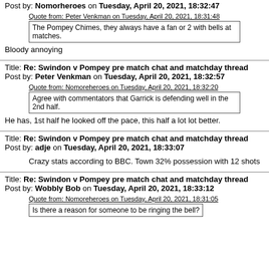Post by: Nomorheroes on Tuesday, April 20, 2021, 18:32:47
Quote from: Peter Venkman on Tuesday, April 20, 2021, 18:31:48
The Pompey Chimes, they always have a fan or 2 with bells at matches.
Bloody annoying
Title: Re: Swindon v Pompey pre match chat and matchday thread
Post by: Peter Venkman on Tuesday, April 20, 2021, 18:32:57
Quote from: Nomoreheroes on Tuesday, April 20, 2021, 18:32:20
Agree with commentators that Garrick is defending well in the 2nd half.
He has, 1st half he looked off the pace, this half a lot lot better.
Title: Re: Swindon v Pompey pre match chat and matchday thread
Post by: adje on Tuesday, April 20, 2021, 18:33:07
Crazy stats according to BBC. Town 32% possession with 12 shots
Title: Re: Swindon v Pompey pre match chat and matchday thread
Post by: Wobbly Bob on Tuesday, April 20, 2021, 18:33:12
Quote from: Nomoreheroes on Tuesday, April 20, 2021, 18:31:05
Is there a reason for someone to be ringing the bell?